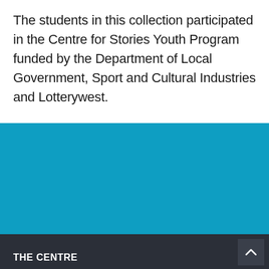The students in this collection participated in the Centre for Stories Youth Program funded by the Department of Local Government, Sport and Cultural Industries and Lotterywest.
[Figure (other): Solid teal/blue colored section filling the middle portion of the page]
THE CENTRE